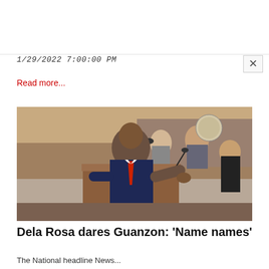1/29/2022 7:00:00 PM
Read more...
[Figure (photo): A man in a dark navy suit with a red tie speaks at a podium with a microphone in what appears to be a government hearing room or senate chamber. He is gesturing with his right hand. People are seated in the background.]
Dela Rosa dares Guanzon: 'Name names'
The National headline News...